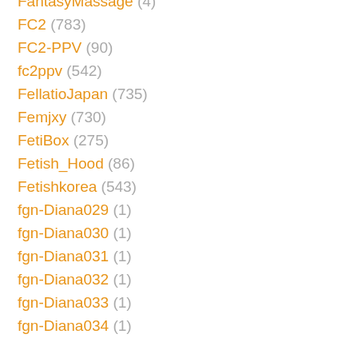FantasyMassage (4)
FC2 (783)
FC2-PPV (90)
fc2ppv (542)
FellatioJapan (735)
Femjxy (730)
FetiBox (275)
Fetish_Hood (86)
Fetishkorea (543)
fgn-Diana029 (1)
fgn-Diana030 (1)
fgn-Diana031 (1)
fgn-Diana032 (1)
fgn-Diana033 (1)
fgn-Diana034 (1)